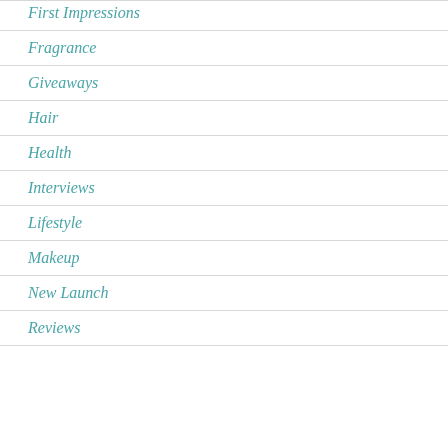First Impressions
Fragrance
Giveaways
Hair
Health
Interviews
Lifestyle
Makeup
New Launch
Reviews